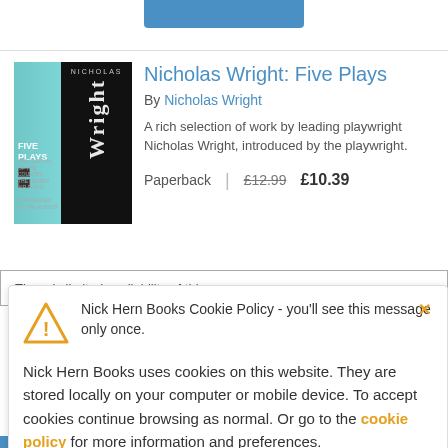[Figure (screenshot): Blue button partially visible at top of page]
[Figure (illustration): Book cover for 'Nicholas Wright: Five Plays' with teal and black design]
Nicholas Wright: Five Plays
By Nicholas Wright
A rich selection of work by leading playwright Nicholas Wright, introduced by the playwright.
Paperback  £12.99  £10.39
There is limited availability of this
Nick Hern Books Cookie Policy - you'll see this message only once.
Nick Hern Books uses cookies on this website. They are stored locally on your computer or mobile device. To accept cookies continue browsing as normal. Or go to the cookie policy for more information and preferences.